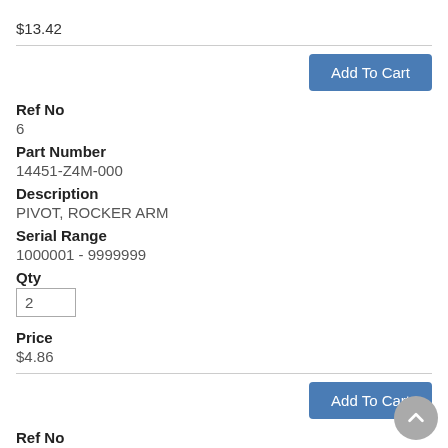$13.42
Add To Cart
Ref No
6
Part Number
14451-Z4M-000
Description
PIVOT, ROCKER ARM
Serial Range
1000001 - 9999999
Qty
2
Price
$4.86
Add To Cart
Ref No
7